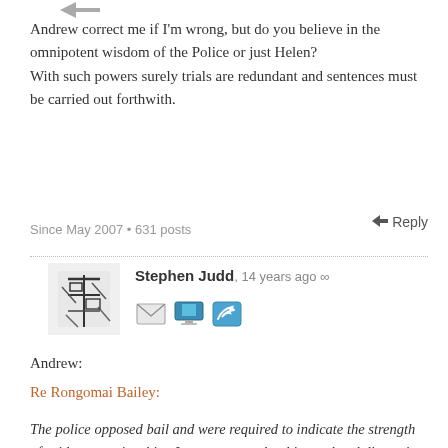[Figure (illustration): Small arrow icon pointing left at top of page]
Andrew correct me if I'm wrong, but do you believe in the omnipotent wisdom of the Police or just Helen?
With such powers surely trials are redundant and sentences must be carried out forthwith.
Since May 2007 • 631 posts
↩ Reply
[Figure (photo): Avatar image for Stephen Judd - black and white abstract/artistic profile picture]
Stephen Judd, 14 years ago ∞
[Figure (illustration): Row of three social/contact icons: email envelope, computer monitor, Twitter bird]
Andrew:
Re Rongomai Bailey:
The police opposed bail and were required to indicate the strength of evidence against him. It was a somewhat bizarre legal discussion which followed. It transpired the police had no admissible evidence to justify laying the arms charges. In fact, they had no direct evidence whatever that he had ever even touched a firearm of any sort. What they did have was evidence